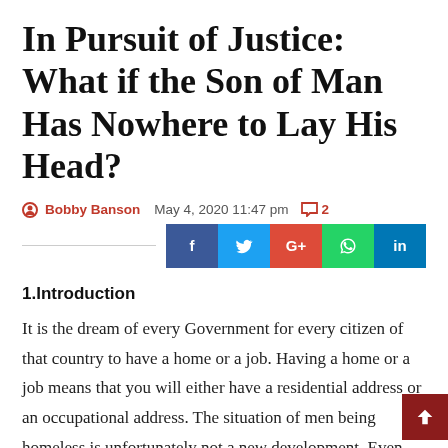In Pursuit of Justice: What if the Son of Man Has Nowhere to Lay His Head?
Bobby Banson   May 4, 2020 11:47 pm   2
1.Introduction
It is the dream of every Government for every citizen of that country to have a home or a job. Having a home or a job means that you will either have a residential address or an occupational address. The situation of men being homeless is unfortunately not a new development. Even the Lord Jesus Christ, at a point during his time of earth, faced this problem. He said at a point “Foxes have holes and birds of the air have